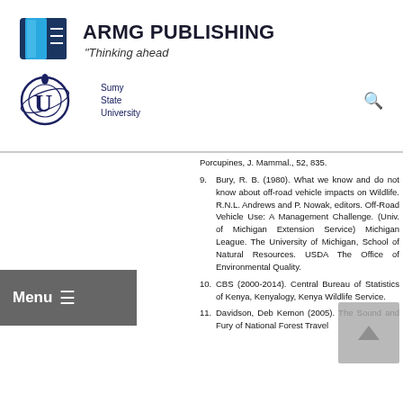[Figure (logo): ARMG Publishing logo with book icon and tagline 'Thinking ahead']
[Figure (logo): Sumy State University logo]
Porcupines, J. Mammal., 52, 835.
9. Bury, R. B. (1980). What we know and do not know about off-road vehicle impacts on Wildlife. R.N.L. Andrews and P. Nowak, editors. Off-Road Vehicle Use: A Management Challenge. (Univ. of Michigan Extension Service) Michigan League. The University of Michigan, School of Natural Resources. USDA The Office of Environmental Quality.
10. CBS (2000-2014). Central Bureau of Statistics of Kenya, Kenyalogy, Kenya Wildlife Service.
11. Davidson, Deb Kemon (2005). The Sound and Fury of National Forest Travel